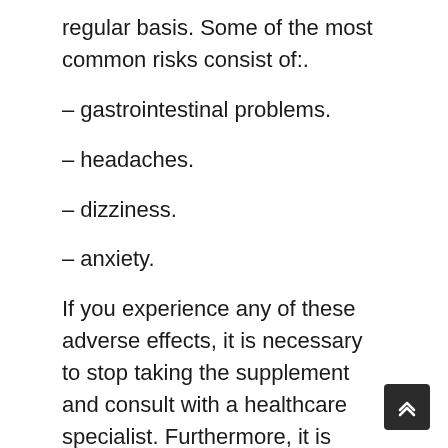regular basis. Some of the most common risks consist of:.
– gastrointestinal problems.
– headaches.
– dizziness.
– anxiety.
If you experience any of these adverse effects, it is necessary to stop taking the supplement and consult with a healthcare specialist. Furthermore, it is important to be mindful that some nootropics can connect with other medications you may be taking. It is always best to speak with a health care expert before beginning any supplement program.
In spite of the risks, many people discover that the